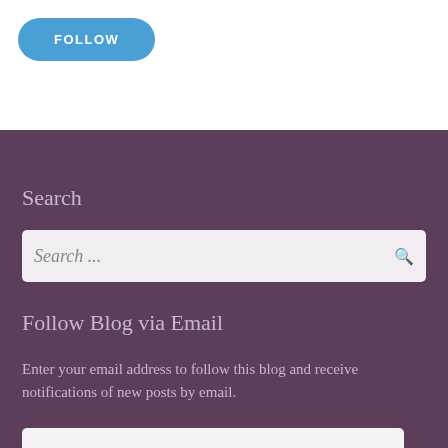[Figure (other): Blue rounded FOLLOW button on white background]
Search
Search ...
Follow Blog via Email
Enter your email address to follow this blog and receive notifications of new posts by email.
Email Address